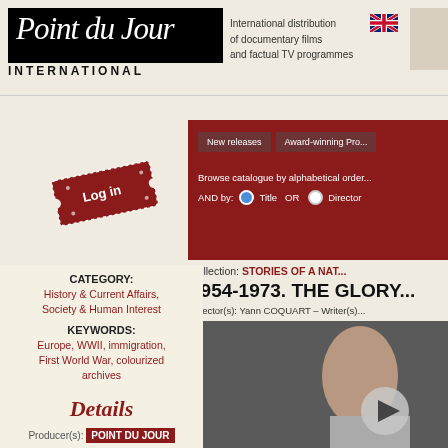[Figure (screenshot): Point du Jour International logo — white italic text on black background with INTERNATIONAL in black below]
International distribution of documentary films and factual TV programmes
Log in
New releases    Award-winning Pro...
Browse catalogue by alphabetical order AND by: ● Title  OR  ○ Director
Collection: STORIES OF A NA...
1954-1973. THE GLORY...
Director(s): Yann COQUART – Writer(s)...
CATEGORY:
History & Current Affairs, Society & Human Interest
KEYWORDS:
Europe, WWII, immigration, First World War, colourized archives
Details
Producer(s): POINT DU JOUR
[Figure (screenshot): Thumbnail image of a person (woman) with a circular play button overlay, on dark background]